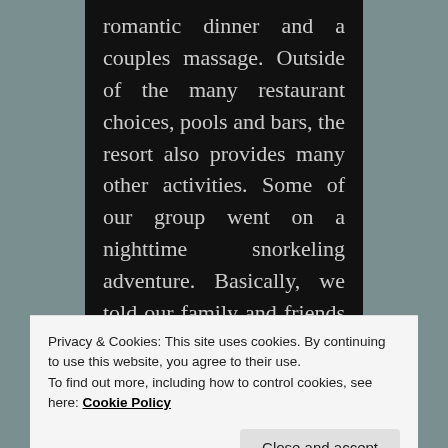romantic dinner and a couples massage. Outside of the many restaurant choices, pools and bars, the resort also provides many other activities. Some of our group went on a nighttime snorkeling adventure. Basically, we told our family and friends that they had to be at the wedding ceremony and dinner that
Privacy & Cookies: This site uses cookies. By continuing to use this website, you agree to their use.
To find out more, including how to control cookies, see here: Cookie Policy
thing and have their own little